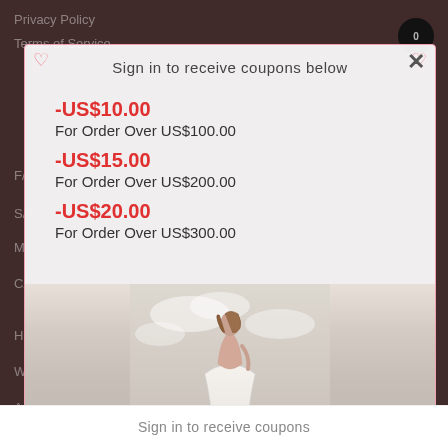Privacy Policy
Terms of Service
Sign in to receive coupons below
-US$10.00
For Order Over US$100.00
-US$15.00
For Order Over US$200.00
-US$20.00
For Order Over US$300.00
[Figure (photo): Woman in backless white dress viewed from behind, standing outdoors with cloudy sky background]
Sign in to receive coupons